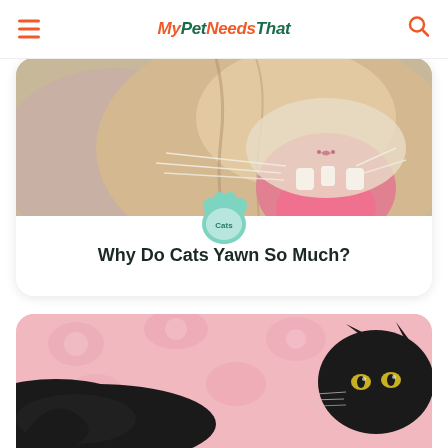MyPetNeedsThat
[Figure (photo): Close-up photo of a cat yawning with mouth wide open, showing pink tongue and teeth, with a teal paw print badge overlay labeled 'Cats']
Why Do Cats Yawn So Much?
[Figure (photo): Black long-haired cat lying on a pink floral blanket/rug, viewed from the side with head turned slightly toward camera showing glowing eyes]